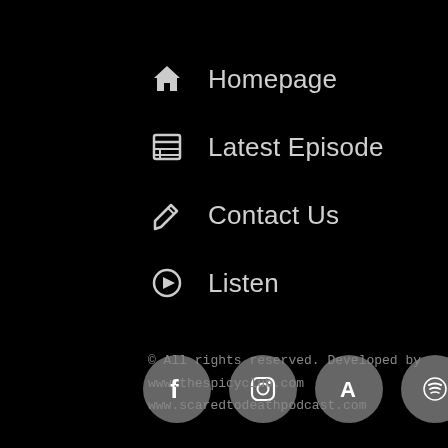Homepage
Latest Episode
Contact Us
Listen
[Figure (infographic): Four social media icon circles: Facebook, Instagram, App Store, Spotify]
© All rights reserved. Developed by
www.thespicyclub.com
www.scaredtodeathpodcast.com